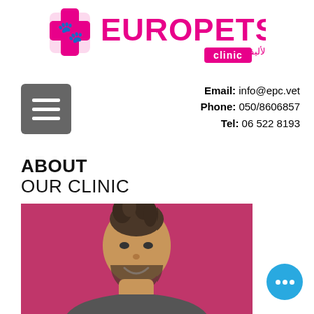[Figure (logo): Europets Clinic logo in pink/magenta with Arabic subtitle text 'العيادة الأوروبية للحيوانات الأليفة' and animal silhouettes]
[Figure (other): Grey hamburger/menu icon button]
Email: info@epc.vet
Phone: 050/8606857
Tel: 06 522 8193
ABOUT
OUR CLINIC
[Figure (photo): Photo of a man with dreadlocks smiling against a pink/magenta background]
[Figure (other): Blue circular chat/help button with three white dots]